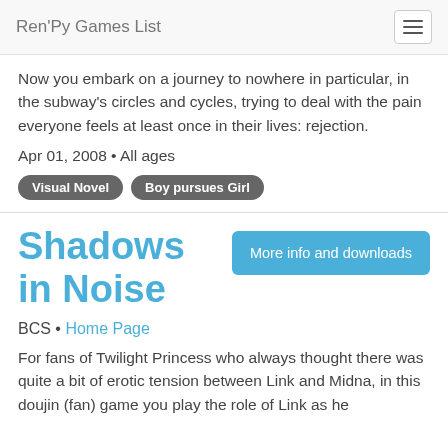Ren'Py Games List
Now you embark on a journey to nowhere in particular, in the subway's circles and cycles, trying to deal with the pain everyone feels at least once in their lives: rejection.
Apr 01, 2008 • All ages
Visual Novel
Boy pursues Girl
Shadows in Noise
More info and downloads
BCS • Home Page
For fans of Twilight Princess who always thought there was quite a bit of erotic tension between Link and Midna, in this doujin (fan) game you play the role of Link as he